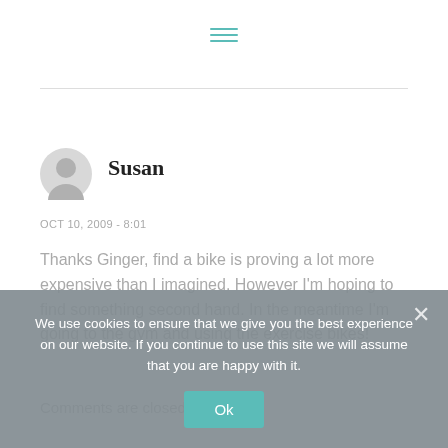[Figure (other): Hamburger menu icon with three horizontal teal lines]
Susan
OCT 10, 2009 - 8:01
Thanks Ginger, find a bike is proving a lot more expensive than I imagined. However I'm hoping to find something second hand. In the meantime I'm going to the gym and using the exercise bikes!
Comments are closed.
We use cookies to ensure that we give you the best experience on our website. If you continue to use this site we will assume that you are happy with it.